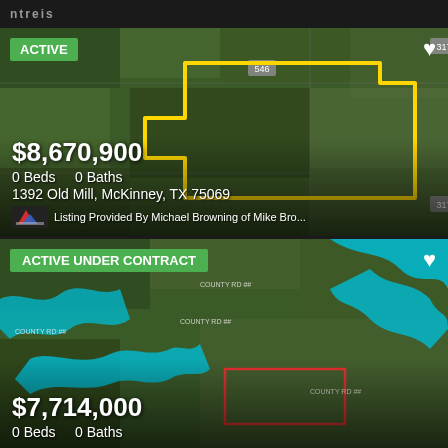ntreis
[Figure (map): Aerial satellite map showing rural/agricultural land in McKinney TX with a yellow boundary outline marking the property parcel. Road markers 317 and 546 visible.]
ACTIVE
$8,670,900
0 Beds    0 Baths
1392 Old Mill, McKinney, TX 75069
Listing Provided By Michael Browning of Mike Bro...
[Figure (map): Aerial satellite map showing rural land with teal/blue waterways and a red boundary rectangle marking the property. County road labels visible.]
ACTIVE UNDER CONTRACT
$7,714,000
0 Beds    0 Baths